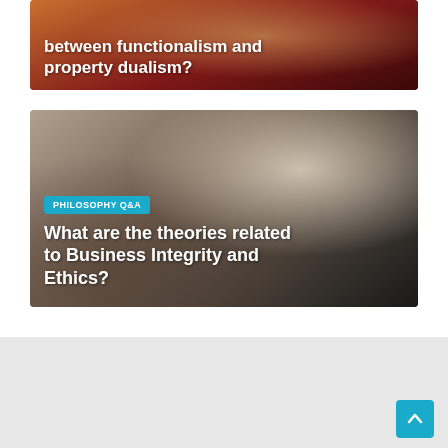[Figure (photo): Top card image: blurred photo background (red/orange tones, appears to show cans or objects), with bold white title text overlaid: 'between functionalism and property dualism?']
between functionalism and property dualism?
[Figure (photo): Bottom card image: photo of a person (woman with dark hair) reading or writing in a book, warm blurred background with lamp light. PHILOSOPHY Q&A badge overlaid in teal, bold white title text: 'What are the theories related to Business Integrity and Ethics?']
PHILOSOPHY Q&A
What are the theories related to Business Integrity and Ethics?